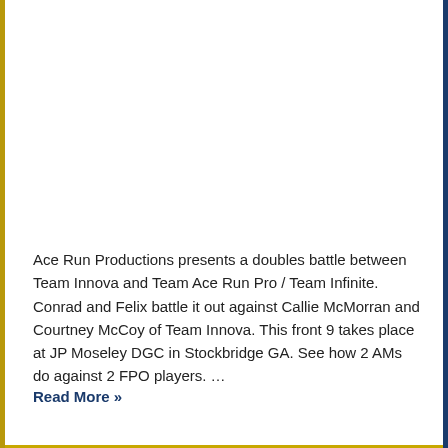Ace Run Productions presents a doubles battle between Team Innova and Team Ace Run Pro / Team Infinite. Conrad and Felix battle it out against Callie McMorran and Courtney McCoy of Team Innova. This front 9 takes place at JP Moseley DGC in Stockbridge GA. See how 2 AMs do against 2 FPO players. …
Read More »